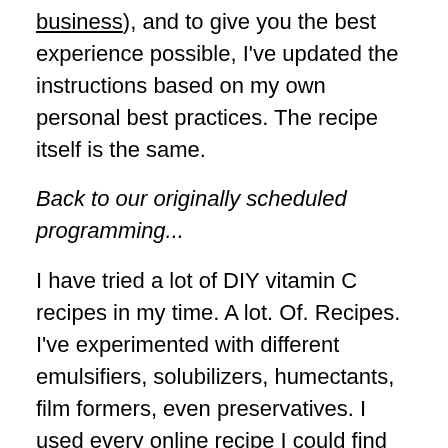business), and to give you the best experience possible, I've updated the instructions based on my own personal best practices. The recipe itself is the same.
Back to our originally scheduled programming...
I have tried a lot of DIY vitamin C recipes in my time. A lot. Of. Recipes. I've experimented with different emulsifiers, solubilizers, humectants, film formers, even preservatives. I used every online recipe I could find and tried to tweak them all. I hated almost everything I made.
In a fit of desperation, I Googled around to see if anyone had created a dupe of the phenomenal Skinceuticals CE Ferulic serum. Lo and behold,